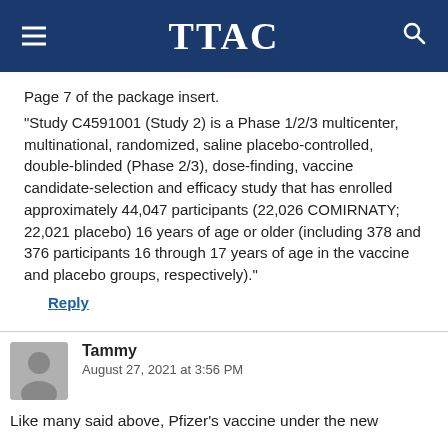TTAC
Page 7 of the package insert.
“Study C4591001 (Study 2) is a Phase 1/2/3 multicenter, multinational, randomized, saline placebo-controlled, double-blinded (Phase 2/3), dose-finding, vaccine candidate-selection and efficacy study that has enrolled approximately 44,047 participants (22,026 COMIRNATY; 22,021 placebo) 16 years of age or older (including 378 and 376 participants 16 through 17 years of age in the vaccine and placebo groups, respectively).”
Reply
Tammy
August 27, 2021 at 3:56 PM
Like many said above, Pfizer’s vaccine under the new